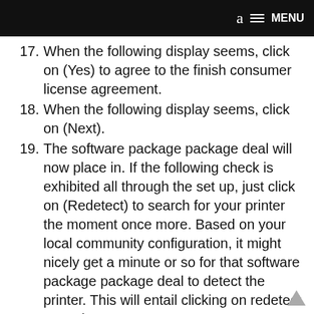a  ≡ MENU
17. When the following display seems, click on (Yes) to agree to the finish consumer license agreement.
18. When the following display seems, click on (Next).
19. The software package package deal will now place in. If the following check is exhibited all through the set up, just click on (Redetect) to search for your printer the moment once more. Based on your local community configuration, it might nicely get a minute or so for that software package package deal to detect the printer. This will entail clicking on redetect sometimes.
20. As quickly as the Cableless setup is complete, the following display could be exhibited to indicate the item inside of your printer as nicely as determine